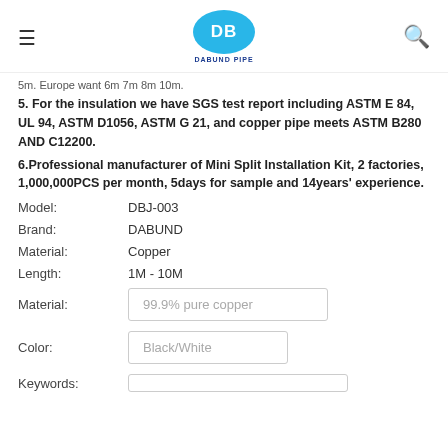DABUND PIPE
5m. Europe want 6m 7m 8m 10m.
5. For the insulation we have SGS test report including ASTM E 84, UL 94, ASTM D1056, ASTM G 21, and copper pipe meets ASTM B280 AND C12200.
6.Professional manufacturer of Mini Split Installation Kit, 2 factories, 1,000,000PCS per month, 5days for sample and 14years' experience.
| Field | Value |
| --- | --- |
| Model: | DBJ-003 |
| Brand: | DABUND |
| Material: | Copper |
| Length: | 1M - 10M |
| Material: | 99.9% pure copper |
| Color: | Black/White |
| Keywords: |  |